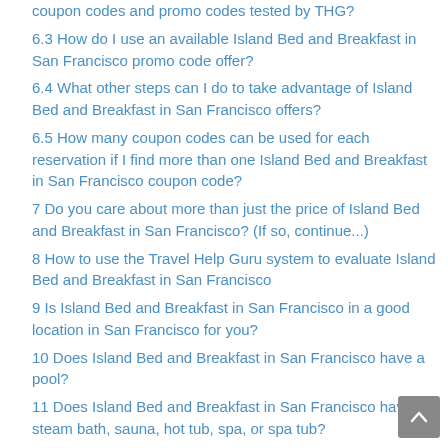6.3 How do I use an available Island Bed and Breakfast in San Francisco promo code offer?
6.4 What other steps can I do to take advantage of Island Bed and Breakfast in San Francisco offers?
6.5 How many coupon codes can be used for each reservation if I find more than one Island Bed and Breakfast in San Francisco coupon code?
7 Do you care about more than just the price of Island Bed and Breakfast in San Francisco? (If so, continue...)
8 How to use the Travel Help Guru system to evaluate Island Bed and Breakfast in San Francisco
9 Is Island Bed and Breakfast in San Francisco in a good location in San Francisco for you?
10 Does Island Bed and Breakfast in San Francisco have a pool?
11 Does Island Bed and Breakfast in San Francisco have a steam bath, sauna, hot tub, spa, or spa tub?
12 Does Island Bed and Breakfast in San Francisco offer free wi-fi?